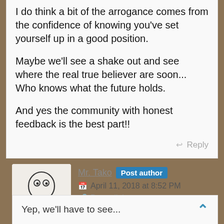I do think a bit of the arrogance comes from the confidence of knowing you've set yourself up in a good position.
Maybe we'll see a shake out and see where the real true believer are soon... Who knows what the future holds.
And yes the community with honest feedback is the best part!!
Reply
[Figure (illustration): Octopus avatar illustration in black and white sketch style]
Mr. Tako  Post author
April 11, 2018 at 8:52 PM
Permalink
Yep, we'll have to see...